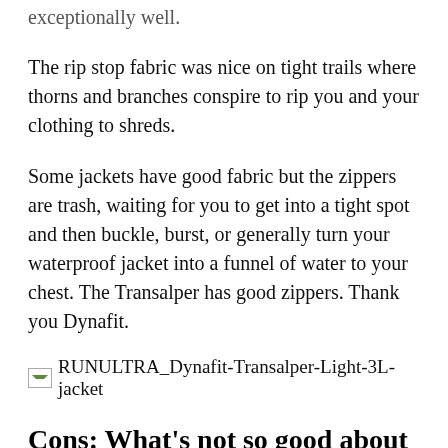exceptionally well.
The rip stop fabric was nice on tight trails where thorns and branches conspire to rip you and your clothing to shreds.
Some jackets have good fabric but the zippers are trash, waiting for you to get into a tight spot and then buckle, burst, or generally turn your waterproof jacket into a funnel of water to your chest. The Transalper has good zippers. Thank you Dynafit.
[Figure (photo): Broken image placeholder for RUNULTRA_Dynafit-Transalper-Light-3L-jacket]
Cons: What’s not so good about the Dynafit Transalper Light 3L Jacket
Waterproof layers have their drawbacks. Two of those